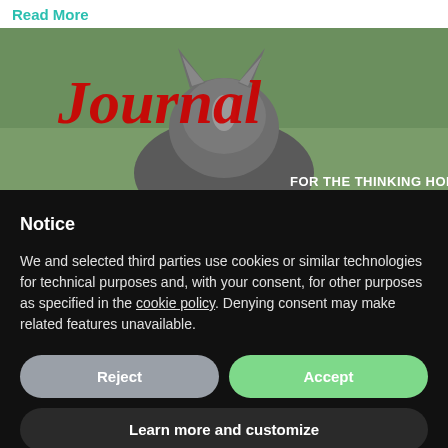Read More
[Figure (photo): Magazine cover image showing a horse from behind with ears visible, red cursive logo text and 'FOR THE THINKING HORSEMAN' text overlay]
Notice
We and selected third parties use cookies or similar technologies for technical purposes and, with your consent, for other purposes as specified in the cookie policy. Denying consent may make related features unavailable.
Reject
Accept
Learn more and customize